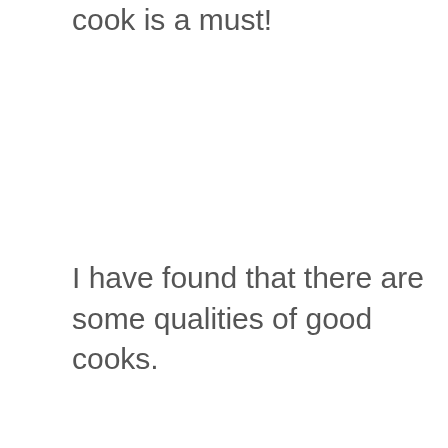cook is a must!
I have found that there are some qualities of good cooks.
Good cooks can whip up a meal without a recipe. They can improvise, change up the ingredients and add bits and pieces depending on what is in season or what they have in the fridge. Good cooks can shop quickly and efficiently and they enjoy cooking! It isn’t a chore or a long and tedious process, but a joy where they are intuitive, knowing how to adjust